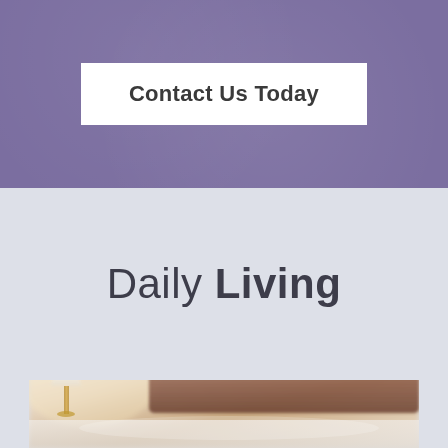Contact Us Today
Daily Living
[Figure (photo): Blurred bedroom interior with a lamp and wooden headboard, soft warm tones.]